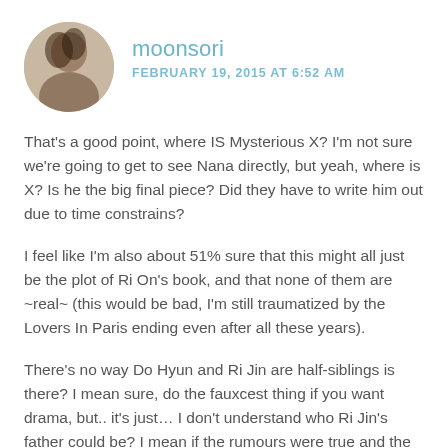moonsori
FEBRUARY 19, 2015 AT 6:52 AM
That's a good point, where IS Mysterious X? I'm not sure we're going to get to see Nana directly, but yeah, where is X? Is he the big final piece? Did they have to write him out due to time constrains?
I feel like I'm also about 51% sure that this might all just be the plot of Ri On's book, and that none of them are ~real~ (this would be bad, I'm still traumatized by the Lovers In Paris ending even after all these years).
There's no way Do Hyun and Ri Jin are half-siblings is there? I mean sure, do the fauxcest thing if you want drama, but.. it's just… I don't understand who Ri Jin's father could be? I mean if the rumours were true and the old Chairman had a child with his daughter-in-law